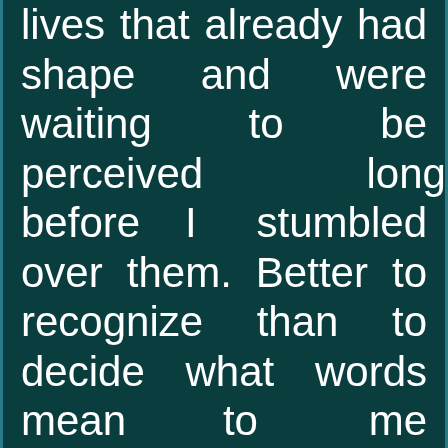lives that already had shape and were waiting to be perceived long before I stumbled over them. Better to recognize than to decide what words mean to me personally. Write something down and